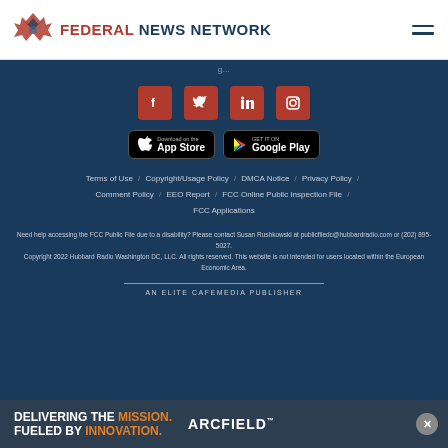[Figure (logo): Federal News Network logo with stylized icon and text]
[Figure (infographic): Social media icons: Facebook, Twitter, LinkedIn, Instagram on red square buttons]
[Figure (infographic): App Store and Google Play download buttons]
Terms of Use / Copyright/Usage Policy / DMCA Notice / Privacy Policy / Comment Policy / EEO Report / FCC Online Public Inspection File / FCC Applications
Need help accessing the FCC Public File due to a disability? Please contact Susan Rushkowski at publicfiledc@hubbardradio.com or (202) 895-5027. Copyright 2022 Hubbard Radio Washington DC, LLC. All rights reserved. This website is not intended for users located within the European Economic Area.
AN ELITE CAFEMEDIA PUBLISHER
[Figure (infographic): Advertisement banner: DELIVERING THE MISSION. FUELED BY INNOVATION. ARCFIELD]